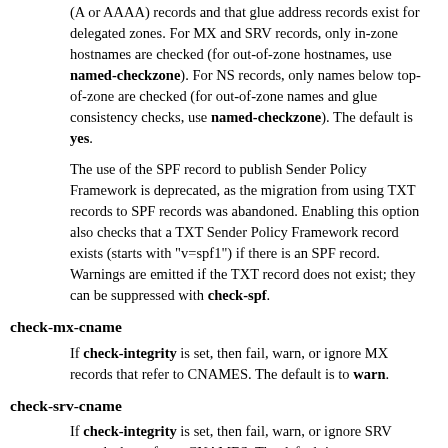(A or AAAA) records and that glue address records exist for delegated zones. For MX and SRV records, only in-zone hostnames are checked (for out-of-zone hostnames, use named-checkzone). For NS records, only names below top-of-zone are checked (for out-of-zone names and glue consistency checks, use named-checkzone). The default is yes.
The use of the SPF record to publish Sender Policy Framework is deprecated, as the migration from using TXT records to SPF records was abandoned. Enabling this option also checks that a TXT Sender Policy Framework record exists (starts with "v=spf1") if there is an SPF record. Warnings are emitted if the TXT record does not exist; they can be suppressed with check-spf.
check-mx-cname
If check-integrity is set, then fail, warn, or ignore MX records that refer to CNAMES. The default is to warn.
check-srv-cname
If check-integrity is set, then fail, warn, or ignore SRV records that refer to CNAMES. The default is to warn.